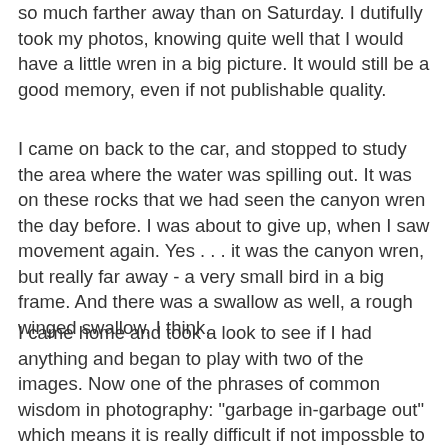so much farther away than on Saturday. I dutifully took my photos, knowing quite well that I would have a little wren in a big picture. It would still be a good memory, even if not publishable quality.
I came on back to the car, and stopped to study the area where the water was spilling out. It was on these rocks that we had seen the canyon wren the day before. I was about to give up, when I saw movement again. Yes . . . it was the canyon wren, but really far away - a very small bird in a big frame. And there was a swallow as well, a rough winged swallow, I think.
I came home and took a look to see if I had anything and began to play with two of the images. Now one of the phrases of common wisdom in photography: "garbage in-garbage out" which means it is really difficult if not impossble to create a high quality image in photoshop when the original is not good. And, I agree with that statement which is one of the reasons I work really hard when I am working with the camera to capture the best image possible. But sometimes, that is not always possible. These two little birds were a long